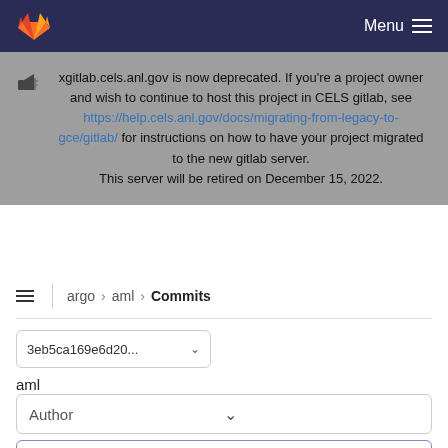Menu
xgitlab.cels.anl.gov is now deprecated. If you're a project owner and wish to continue to host this project in CELS gitlab, see https://help.cels.anl.gov/docs/migrating-from-legacy-to-gce/gitlab/ for instructions on how to have your project migrated to the new gitlab server. This server will be retired on December 15, 2022.
argo > aml > Commits
3eb5ca169e6d20...
aml
Author
Search by message
31 Aug 2018 1 commit